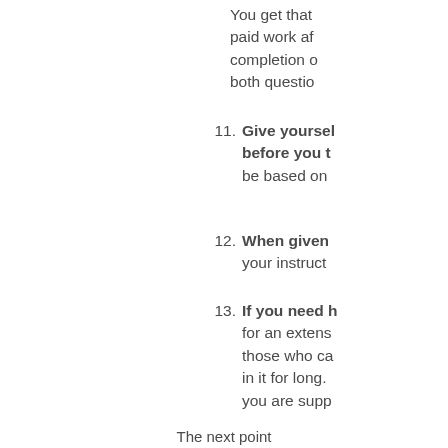You get that paid work after completion of both questio
11. Give yourself before you t be based on
12. When given your instruct
13. If you need h for an extens those who ca in it for long. you are supp
The next point